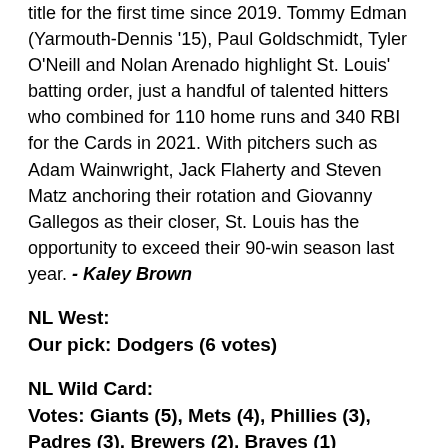title for the first time since 2019. Tommy Edman (Yarmouth-Dennis '15), Paul Goldschmidt, Tyler O'Neill and Nolan Arenado highlight St. Louis' batting order, just a handful of talented hitters who combined for 110 home runs and 340 RBI for the Cards in 2021. With pitchers such as Adam Wainwright, Jack Flaherty and Steven Matz anchoring their rotation and Giovanny Gallegos as their closer, St. Louis has the opportunity to exceed their 90-win season last year. - Kaley Brown
NL West:
Our pick: Dodgers (6 votes)
NL Wild Card:
Votes: Giants (5), Mets (4), Phillies (3), Padres (3), Brewers (2), Braves (1)
The New York Mets will reach the wild card in 2022 if their starting pitching can stay healthy (largely deGrom and Scherzer), and they can produce runs. Their rotation has